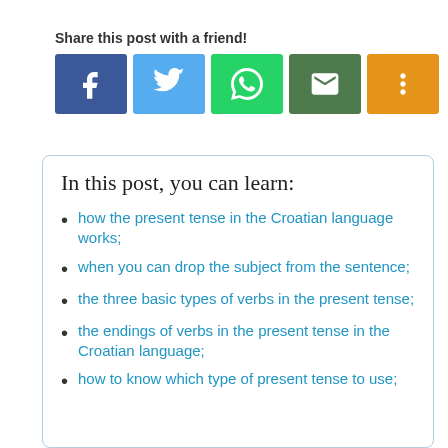Share this post with a friend!
[Figure (other): Social share buttons: Facebook, Twitter, WhatsApp, Email, More]
In this post, you can learn:
how the present tense in the Croatian language works;
when you can drop the subject from the sentence;
the three basic types of verbs in the present tense;
the endings of verbs in the present tense in the Croatian language;
how to know which type of present tense to use;